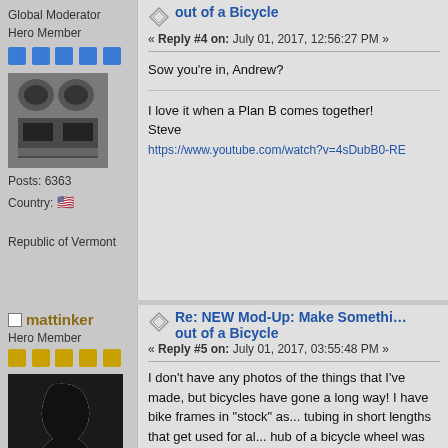Global Moderator
Hero Member
[Figure (photo): Avatar image showing mechanical exhaust pipes]
Posts: 6363
Country: [US flag]
Republic of Vermont
Re: NEW Mod-Up: Make Something out of a Bicycle
« Reply #4 on: July 01, 2017, 12:56:27 PM »
Sow you're in, Andrew?
I love it when a Plan B comes together!
Steve
https://www.youtube.com/watch?v=4sDubB0-RE
mattinker
Hero Member
[Figure (photo): Avatar: silhouette profile of a person against white background]
Posts: 1313
Re: NEW Mod-Up: Make Something out of a Bicycle
« Reply #5 on: July 01, 2017, 03:55:48 PM »
I don't have any photos of the things that I've made, but bicycles have gone a long way! I have bike frames in "stock" as... tubing in short lengths that get used for all... hub of a bicycle wheel was the vertical ax... I've made "kinetic" sculpture from bicycle... a piece that uses the hub of the front whe...